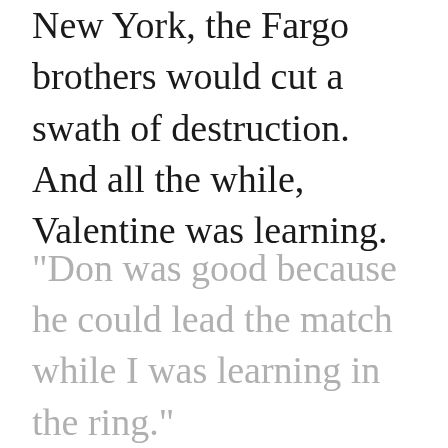New York, the Fargo brothers would cut a swath of destruction. And all the while, Valentine was learning.
"Don was good because he could lead the match while I was learning in the ring."